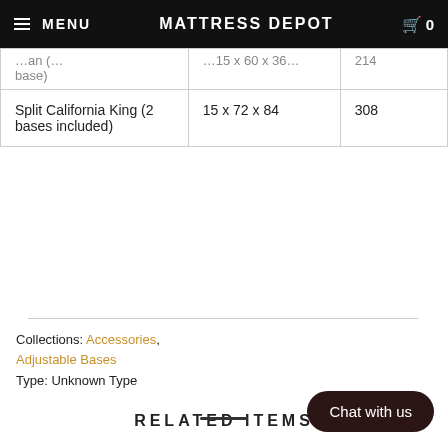MENU  MATTRESS DEPOT  0
|  |  |  |
| --- | --- | --- |
| ...an (...base) | ...15 x 60 x 36... | 214 |
| Split California King (2 bases included) | 15 x 72 x 84 | 308 |
Collections: Accessories, Adjustable Bases
Type: Unknown Type
SHARE
RELATED ITEMS
Chat with us